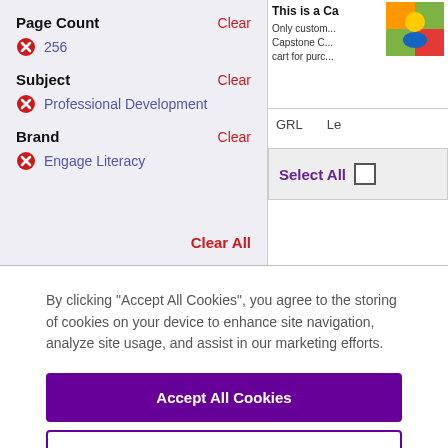Page Count
Clear
256
Subject
Clear
Professional Development
Brand
Clear
Engage Literacy
Clear All
This is a Ca...
Only custom... Capstone C... cart for purc...
GRL
Le
Select All
By clicking “Accept All Cookies”, you agree to the storing of cookies on your device to enhance site navigation, analyze site usage, and assist in our marketing efforts.
Accept All Cookies
Cookies Settings